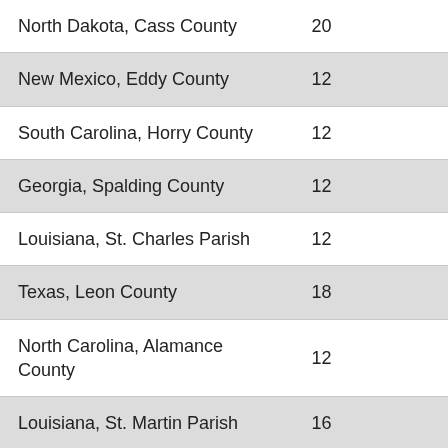| North Dakota, Cass County | 20 |
| New Mexico, Eddy County | 12 |
| South Carolina, Horry County | 12 |
| Georgia, Spalding County | 12 |
| Louisiana, St. Charles Parish | 12 |
| Texas, Leon County | 18 |
| North Carolina, Alamance County | 12 |
| Louisiana, St. Martin Parish | 16 |